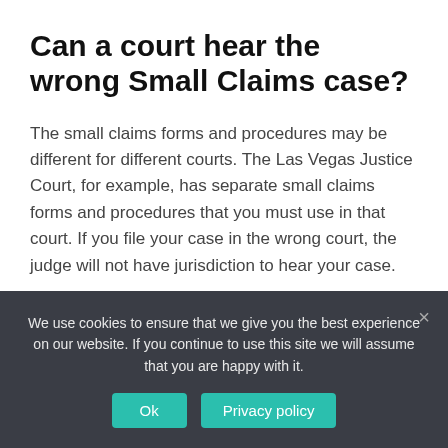Can a court hear the wrong Small Claims case?
The small claims forms and procedures may be different for different courts. The Las Vegas Justice Court, for example, has separate small claims forms and procedures that you must use in that court. If you file your case in the wrong court, the judge will not have jurisdiction to hear your case.
How to respond to a small claims
We use cookies to ensure that we give you the best experience on our website. If you continue to use this site we will assume that you are happy with it.